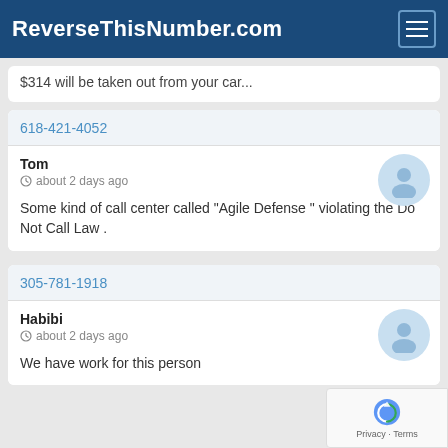ReverseThisNumber.com
$314 will be taken out from your car...
618-421-4052
Tom
about 2 days ago
Some kind of call center called "Agile Defense " violating the Do Not Call Law .
305-781-1918
Habibi
about 2 days ago
We have work for this person